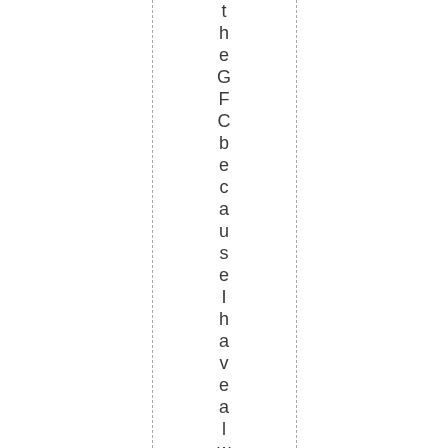the GFC because I have always sh